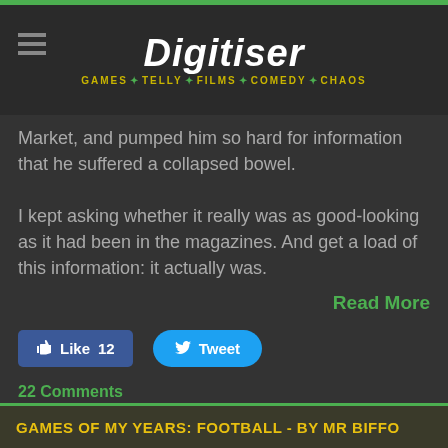Digitiser — GAMES · TELLY · FILMS · COMEDY · CHAOS
Market, and pumped him so hard for information that he suffered a collapsed bowel.

I kept asking whether it really was as good-looking as it had been in the magazines. And get a load of this information: it actually was.
Read More
[Figure (other): Facebook Like button with count 12 and Twitter Tweet button]
22 Comments
GAMES OF MY YEARS: FOOTBALL - BY MR BIFFO